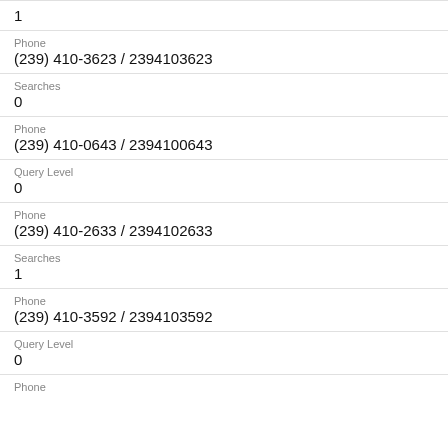1
Phone
(239) 410-3623 / 2394103623
Searches
0
Phone
(239) 410-0643 / 2394100643
Query Level
0
Phone
(239) 410-2633 / 2394102633
Searches
1
Phone
(239) 410-3592 / 2394103592
Query Level
0
Phone